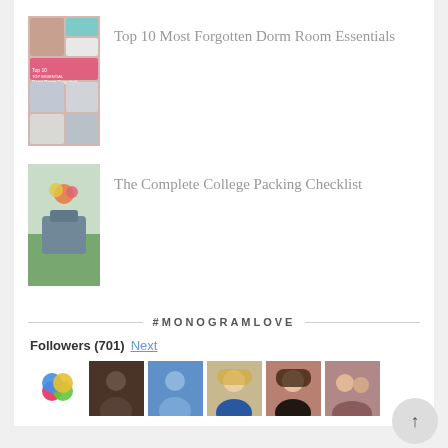[Figure (photo): Thumbnail image of Top 10 Most Forgotten Dorm Room Essentials collage]
Top 10 Most Forgotten Dorm Room Essentials
[Figure (photo): Thumbnail image of a vintage suitcase with flowers for Complete College Packing Checklist]
The Complete College Packing Checklist
#MONOGRAMLOVE
Followers (701) Next
[Figure (photo): Row of six follower avatar thumbnails]